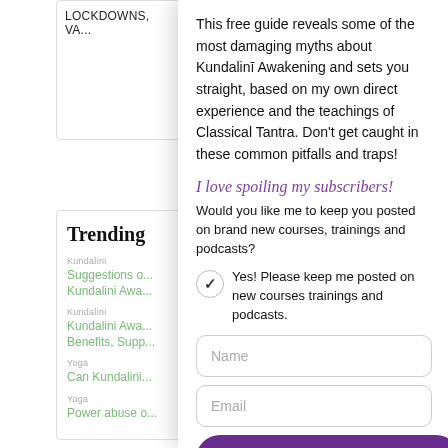Lockdowns, Va...
Trending
Kundalini
Suggestions o... Kundalini Awa...
Kundalini
Kundalini Awa... Benefits, Supp...
Yoga
Can Kundalini...
Yoga
Power abuse o...
This free guide reveals some of the most damaging myths about Kundalinī Awakening and sets you straight, based on my own direct experience and the teachings of Classical Tantra. Don't get caught in these common pitfalls and traps!
I love spoiling my subscribers!
Would you like me to keep you posted on brand new courses, trainings and podcasts?
Yes! Please keep me posted on new courses trainings and podcasts.
Name
Email
Send me the guide